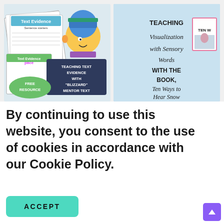[Figure (illustration): Two educational blog post thumbnail images side by side. Left: 'Teaching Text Evidence with Blizzard Mentor Text' with cartoon child and worksheet images, FREE RESOURCE label. Right: 'Teaching Visualization with Sensory Words WITH THE BOOK, Ten Ways to Hear Snow' with book cover and text overlays.]
By continuing to use this website, you consent to the use of cookies in accordance with our Cookie Policy.
ACCEPT
[Figure (screenshot): Partial right-side card showing text 'to Teach' and 'Ways to']
[Figure (screenshot): Partial right-side card showing text 'G', 'hip Snow', 'Magic', 'lship Snow']